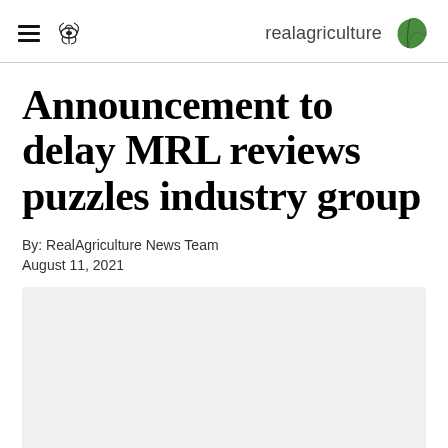realagriculture
Announcement to delay MRL reviews puzzles industry group
By: RealAgriculture News Team
August 11, 2021
[Figure (photo): Gray placeholder image area below the article date]